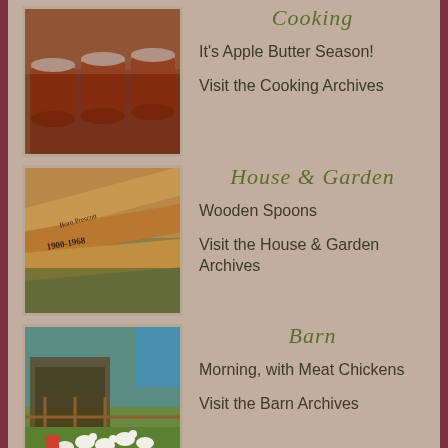[Figure (photo): Jars of apple butter lined up on a wooden surface]
Cooking
It's Apple Butter Season!
Visit the Cooking Archives
[Figure (photo): Wooden spoons with burnt wood lettering and dates 1900-1968]
House & Garden
Wooden Spoons
Visit the House & Garden Archives
[Figure (photo): Chickens in a barn yard enclosure with fence, morning scene]
Barn
Morning, with Meat Chickens
Visit the Barn Archives